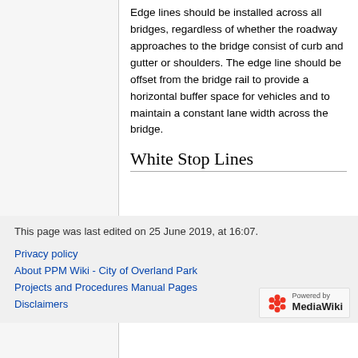Edge lines should be installed across all bridges, regardless of whether the roadway approaches to the bridge consist of curb and gutter or shoulders. The edge line should be offset from the bridge rail to provide a horizontal buffer space for vehicles and to maintain a constant lane width across the bridge.
White Stop Lines
This page was last edited on 25 June 2019, at 16:07.
Privacy policy
About PPM Wiki - City of Overland Park
Projects and Procedures Manual Pages
Disclaimers